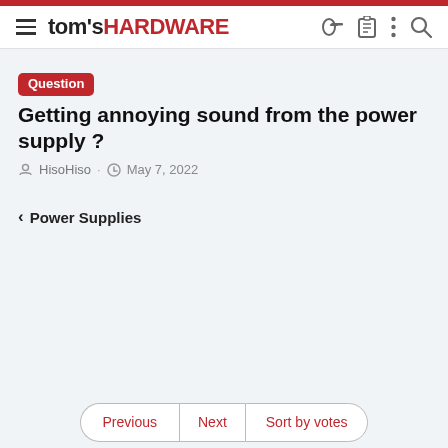tom's HARDWARE
Question Getting annoying sound from the power supply ?
HisoHiso · May 7, 2022
< Power Supplies
Previous | Next | Sort by votes